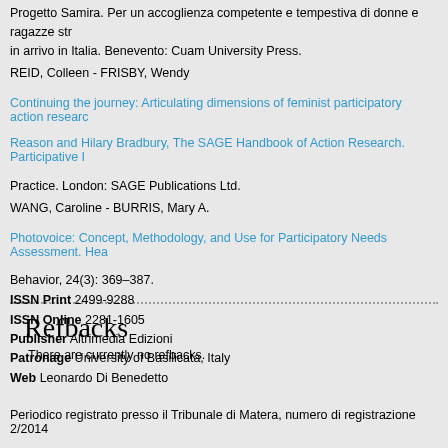Progetto Samira. Per un accoglienza competente e tempestiva di donne e ragazze str... in arrivo in Italia. Benevento: Cuam University Press.
REID, Colleen - FRISBY, Wendy
Continuing the journey: Articulating dimensions of feminist participatory action research... Reason and Hilary Bradbury, The SAGE Handbook of Action Research. Participative I... Practice. London: SAGE Publications Ltd.
WANG, Caroline - BURRIS, Mary A.
Photovoice: Concept, Methodology, and Use for Participatory Needs Assessment. Hea... Behavior, 24(3): 369–387.
Refbacks
There are currently no refbacks.
ISSN Print 2499-9288
ISSN Online 2281-1605
Publisher Altrimedia Edizioni
Patronage University of Basilicata, Italy
Web Leonardo Di Benedetto
Periodico registrato presso il Tribunale di Matera, numero di registrazione 2/2014